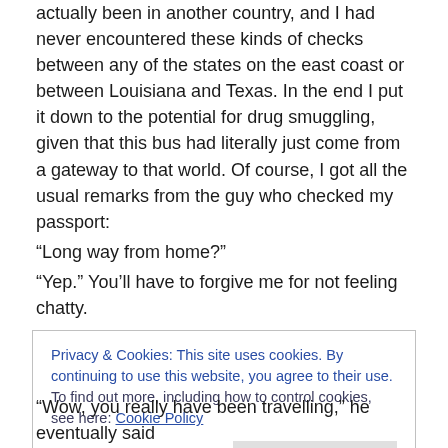actually been in another country, and I had never encountered these kinds of checks between any of the states on the east coast or between Louisiana and Texas. In the end I put it down to the potential for drug smuggling, given that this bus had literally just come from a gateway to that world. Of course, I got all the usual remarks from the guy who checked my passport:
“Long way from home?”
“Yep.” You’ll have to forgive me for not feeling chatty.
“Where are you heading?”
“Santa Fe.”
Privacy & Cookies: This site uses cookies. By continuing to use this website, you agree to their use.
To find out more, including how to control cookies, see here: Cookie Policy
“Wow, you really have been travelling,” he eventually said